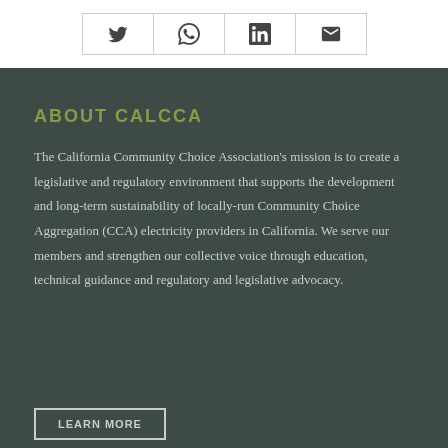[Figure (other): Social sharing icon row with Twitter, WhatsApp, LinkedIn, and Email icons in bordered cells]
ABOUT CALCCA
The California Community Choice Association's mission is to create a legislative and regulatory environment that supports the development and long-term sustainability of locally-run Community Choice Aggregation (CCA) electricity providers in California. We serve our members and strengthen our collective voice through education, technical guidance and regulatory and legislative advocacy.